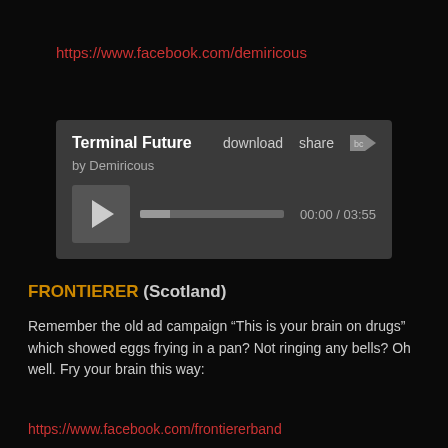https://www.facebook.com/demiricous
[Figure (screenshot): Music player widget showing 'Terminal Future' by Demiricous with download, share, and Bandcamp logo. Play button and progress bar showing 00:00 / 03:55.]
FRONTIERER (Scotland)
Remember the old ad campaign “This is your brain on drugs” which showed eggs frying in a pan? Not ringing any bells? Oh well. Fry your brain this way:
https://www.facebook.com/frontiererband